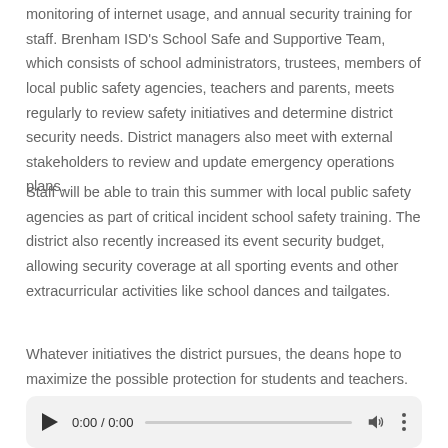monitoring of internet usage, and annual security training for staff. Brenham ISD's School Safe and Supportive Team, which consists of school administrators, trustees, members of local public safety agencies, teachers and parents, meets regularly to review safety initiatives and determine district security needs. District managers also meet with external stakeholders to review and update emergency operations plans.
Staff will be able to train this summer with local public safety agencies as part of critical incident school safety training. The district also recently increased its event security budget, allowing security coverage at all sporting events and other extracurricular activities like school dances and tailgates.
Whatever initiatives the district pursues, the deans hope to maximize the possible protection for students and teachers.
[Figure (other): Audio/video media player widget showing play button, time display 0:00 / 0:00, progress bar, volume icon, and more options icon]